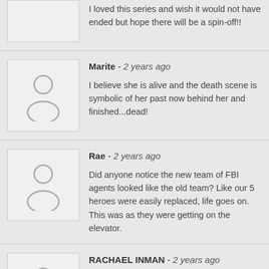I loved this series and wish it would not have ended but hope there will be a spin-off!!
Marite - 2 years ago
I believe she is alive and the death scene is symbolic of her past now behind her and finished...dead!
Rae - 2 years ago
Did anyone notice the new team of FBI agents looked like the old team? Like our 5 heroes were easily replaced, life goes on. This was as they were getting on the elevator.
RACHAEL INMAN - 2 years ago
all 5 got on the elevator with their cleaned out